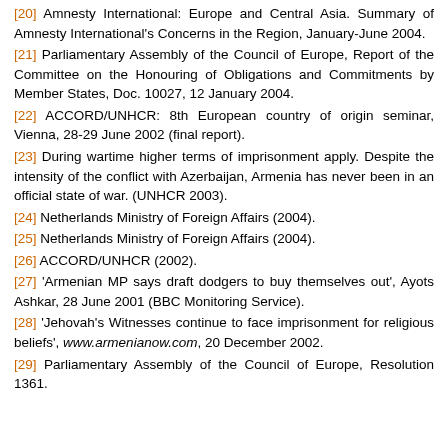[20] Amnesty International: Europe and Central Asia. Summary of Amnesty International's Concerns in the Region, January-June 2004.
[21] Parliamentary Assembly of the Council of Europe, Report of the Committee on the Honouring of Obligations and Commitments by Member States, Doc. 10027, 12 January 2004.
[22] ACCORD/UNHCR: 8th European country of origin seminar, Vienna, 28-29 June 2002 (final report).
[23] During wartime higher terms of imprisonment apply. Despite the intensity of the conflict with Azerbaijan, Armenia has never been in an official state of war. (UNHCR 2003).
[24] Netherlands Ministry of Foreign Affairs (2004).
[25] Netherlands Ministry of Foreign Affairs (2004).
[26] ACCORD/UNHCR (2002).
[27] 'Armenian MP says draft dodgers to buy themselves out', Ayots Ashkar, 28 June 2001 (BBC Monitoring Service).
[28] 'Jehovah's Witnesses continue to face imprisonment for religious beliefs', www.armenianow.com, 20 December 2002.
[29] Parliamentary Assembly of the Council of Europe, Resolution 1361.